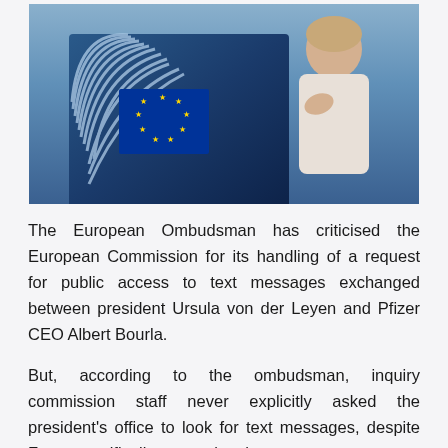[Figure (photo): Photo of a person speaking at a European Parliament podium with the EU flag/logo visible on a dark blue lectern, featuring the characteristic circular EU Parliament spiral design.]
The European Ombudsman has criticised the European Commission for its handling of a request for public access to text messages exchanged between president Ursula von der Leyen and Pfizer CEO Albert Bourla.
But, according to the ombudsman, inquiry commission staff never explicitly asked the president's office to look for text messages, despite Fanta specifically requesting them.
Instead, the cabinet was asked to only look for “documents”, a term that does not include